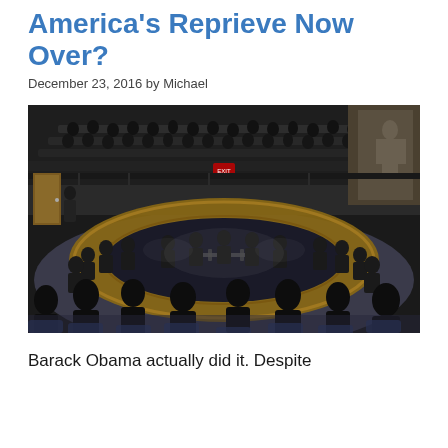America's Reprieve Now Over?
December 23, 2016 by Michael
[Figure (photo): Wide-angle photograph of a UN Security Council session in progress. A large circular wooden table is surrounded by diplomats and officials in suits. The chamber is full of observers in the gallery. A large mural is visible on the right wall. The lighting is dim with overhead spotlights.]
Barack Obama actually did it.  Despite